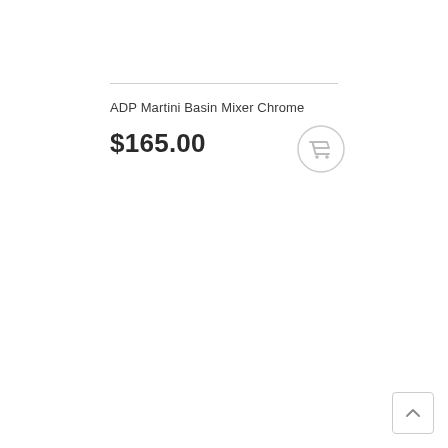ADP Martini Basin Mixer Chrome
$165.00
[Figure (illustration): Shopping cart icon inside a circle outline, light gray color]
[Figure (illustration): Back to top button, square with upward chevron arrow, bottom right corner]